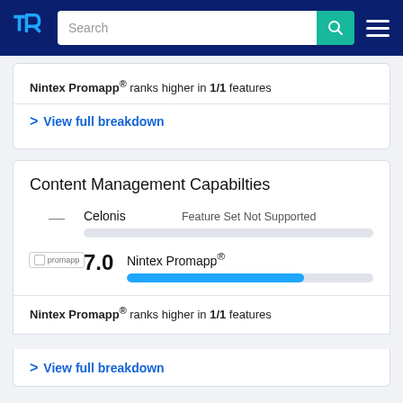TrustRadius — Search header navigation
Nintex Promapp® ranks higher in 1/1 features
> View full breakdown
Content Management Capabilties
Celonis — Feature Set Not Supported
Nintex Promapp® 7.0
Nintex Promapp® ranks higher in 1/1 features
> View full breakdown